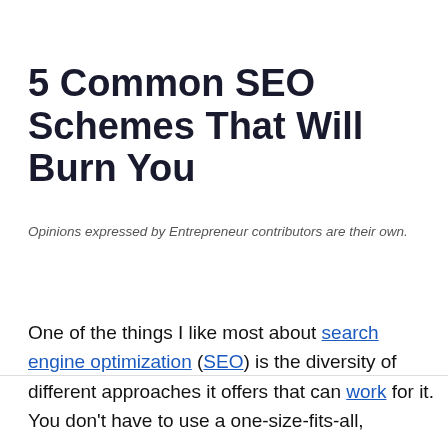5 Common SEO Schemes That Will Burn You
Opinions expressed by Entrepreneur contributors are their own.
One of the things I like most about search engine optimization (SEO) is the diversity of different approaches it offers that can work for it. You don't have to use a one-size-fits-all,